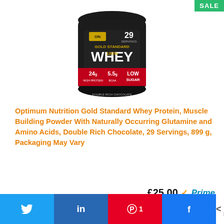[Figure (photo): Black tub of Optimum Nutrition Gold Standard 100% Whey protein powder, Double Rich Chocolate flavor, 29 servings, 899g. Label shows 24g high protein, 5.5g BCAA, Low Sugar.]
Optimum Nutrition Gold Standard Whey Protein, Muscle Building Powder With Naturally Occurring Glutamine and Amino Acids, Double Rich Chocolate, 29 Servings, 899 g, Packaging May Vary
£25.00 Prime
Buy on Amazon